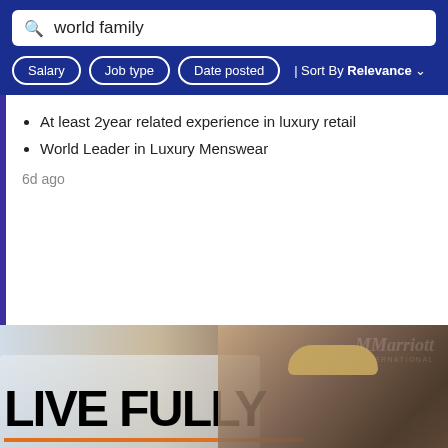world family
Salary | Job type | Date posted | Sort By Relevance
At least 2year related experience in luxury retail
World Leader in Luxury Menswear
6d ago
[Figure (photo): Marriott International 'LIVE FULLY' advertisement banner showing a smiling young man wearing a hat and sunglasses at a train station]
Get job alerts for this search
Subscribe